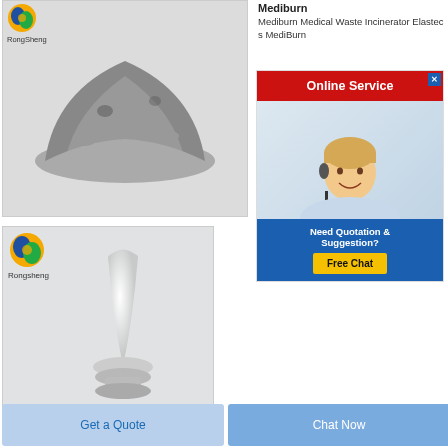[Figure (photo): Gray powder heap (Rongsheng logo top-left)]
[Figure (photo): White elongated capsule/cone shaped object on pedestal (Rongsheng logo top-left)]
Mediburn
Mediburn Medical Waste Incinerator Elastec s MediBurn
[Figure (screenshot): Online Service ad banner: red bar with 'Online Service', customer service representative photo, blue background with 'Need Quotation & Suggestion?' text, yellow 'Free Chat' button]
Get a Quote
Chat Now